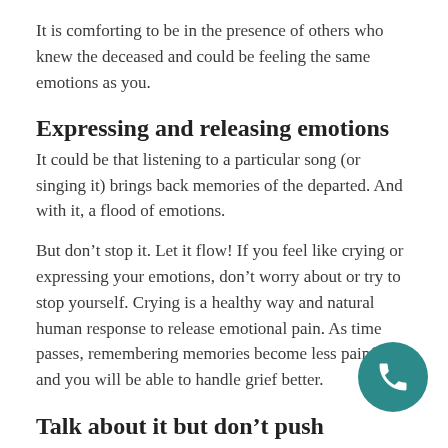It is comforting to be in the presence of others who knew the deceased and could be feeling the same emotions as you.
Expressing and releasing emotions
It could be that listening to a particular song (or singing it) brings back memories of the departed. And with it, a flood of emotions.
But don’t stop it. Let it flow! If you feel like crying or expressing your emotions, don’t worry about or try to stop yourself. Crying is a healthy way and natural human response to release emotional pain. As time passes, remembering memories become less painful, and you will be able to handle grief better.
Talk about it but don’t push yourself
Some people find it helpful when talking about